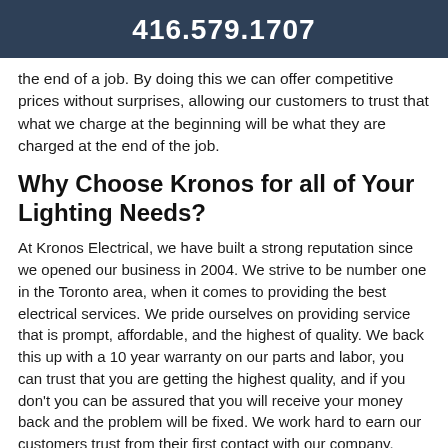416.579.1707
the end of a job. By doing this we can offer competitive prices without surprises, allowing our customers to trust that what we charge at the beginning will be what they are charged at the end of the job.
Why Choose Kronos for all of Your Lighting Needs?
At Kronos Electrical, we have built a strong reputation since we opened our business in 2004. We strive to be number one in the Toronto area, when it comes to providing the best electrical services. We pride ourselves on providing service that is prompt, affordable, and the highest of quality. We back this up with a 10 year warranty on our parts and labor, you can trust that you are getting the highest quality, and if you don't you can be assured that you will receive your money back and the problem will be fixed. We work hard to earn our customers trust from their first contact with our company.